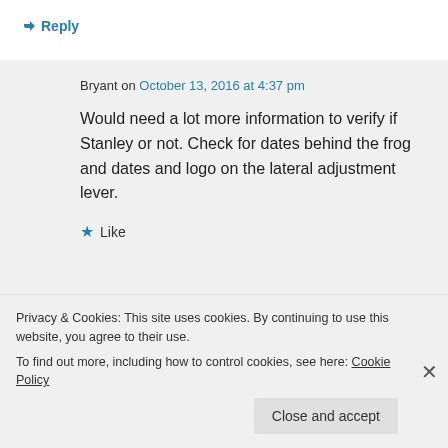↳ Reply
Bryant on October 13, 2016 at 4:37 pm
Would need a lot more information to verify if Stanley or not. Check for dates behind the frog and dates and logo on the lateral adjustment lever.
★ Like
Privacy & Cookies: This site uses cookies. By continuing to use this website, you agree to their use.
To find out more, including how to control cookies, see here: Cookie Policy
Close and accept